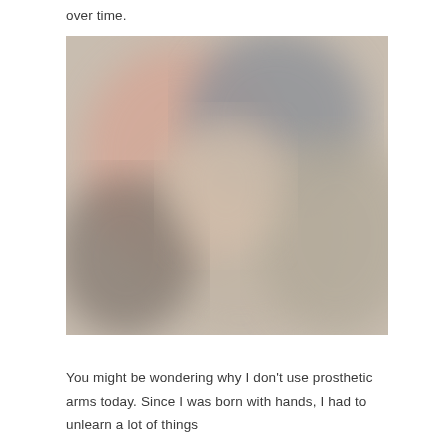over time.
[Figure (photo): A blurred photograph showing two people in warm and neutral tones, with soft light. The image is intentionally blurred to obscure identifiable features.]
You might be wondering why I don't use prosthetic arms today. Since I was born with hands, I had to unlearn a lot of things